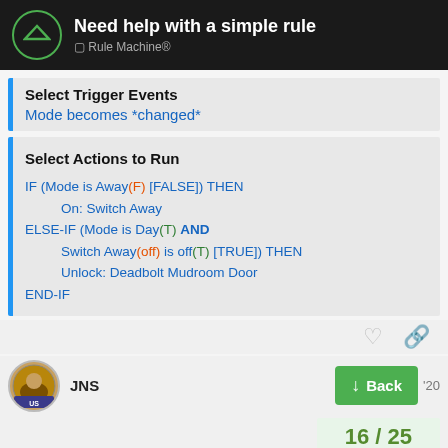Need help with a simple rule – Rule Machine®
Select Trigger Events
Mode becomes *changed*
Select Actions to Run
IF (Mode is Away(F) [FALSE]) THEN
    On: Switch Away
ELSE-IF (Mode is Day(T)  AND
    Switch Away(off) is off(T) [TRUE]) THEN
    Unlock: Deadbolt Mudroom Door
END-IF
JNS
Back
16 / 25
The ELSE-IF needs to check if Switch Aw…